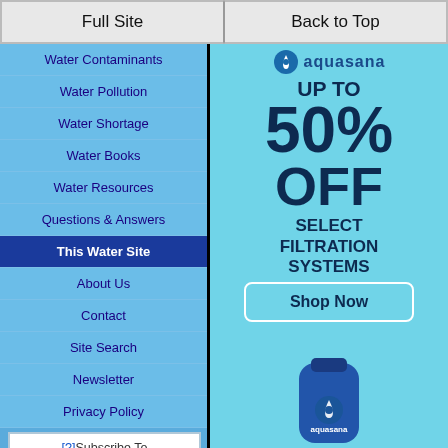Full Site | Back to Top
Water Contaminants
Water Pollution
Water Shortage
Water Books
Water Resources
Questions & Answers
This Water Site
About Us
Contact
Site Search
Newsletter
Privacy Policy
[?] Subscribe To This Site
RSS
Follow
+ MY YAHOO!
[Figure (infographic): Aquasana advertisement: UP TO 50% OFF SELECT FILTRATION SYSTEMS with Shop Now button and aquasana water filter bottle]